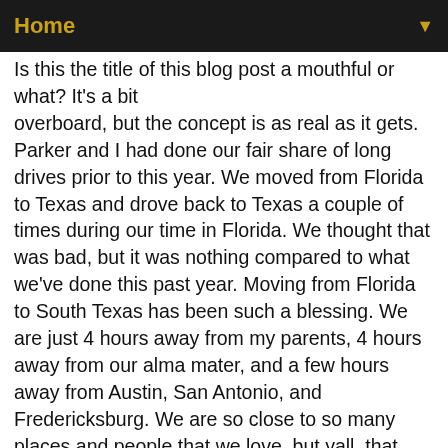Home ▼
Is this the title of this blog post a mouthful or what? It's a bit overboard, but the concept is as real as it gets. Parker and I had done our fair share of long drives prior to this year. We moved from Florida to Texas and drove back to Texas a couple of times during our time in Florida. We thought that was bad, but it was nothing compared to what we've done this past year. Moving from Florida to South Texas has been such a blessing. We are just 4 hours away from my parents, 4 hours away from our alma mater, and a few hours away from Austin, San Antonio, and Fredericksburg. We are so close to so many places and people that we love, but yall, that means countless hours spent in the car trying to get to these places. We had an amazing summer, but I look back on those few months and feel like we spent most of them in the car. It seemed like every weekend we were driving somewhere new.
Road trips became the norm, so we had to figure out how to make it through them without wanting to strangle the other one. Don't get me wrong, Parker and I love each other and appreciate the quality time long drives provides, but road...